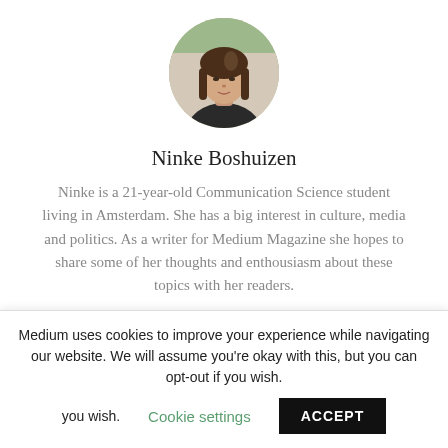[Figure (photo): Circular profile photo of Ninke Boshuizen, a young woman with long brown hair wearing a dark jacket, outdoors with blurred greenery background.]
Ninke Boshuizen
Ninke is a 21-year-old Communication Science student living in Amsterdam. She has a big interest in culture, media and politics. As a writer for Medium Magazine she hopes to share some of her thoughts and enthousiasm about these topics with her readers.
You may also like
Medium uses cookies to improve your experience while navigating our website. We will assume you're okay with this, but you can opt-out if you wish.
Cookie settings
ACCEPT